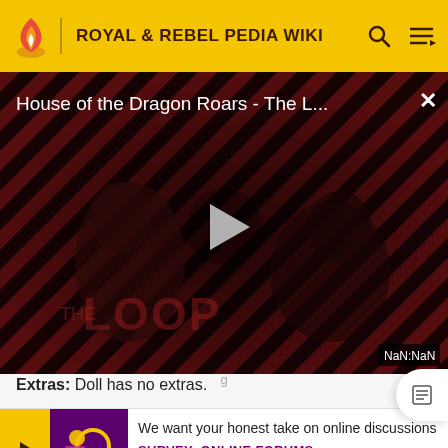ROYAL & REBEL PEDIA WIKI
[Figure (screenshot): Video player showing 'House of the Dragon Roars - The L...' with a play button in the center, diagonal stripe background pattern in dark red, silhouettes of people, THE LOOP branding, and NaN:NaN timestamp display in bottom right corner.]
Extras: Doll has no extras.
We want your honest take on online discussions
SURVEY: ONLINE FORUMS